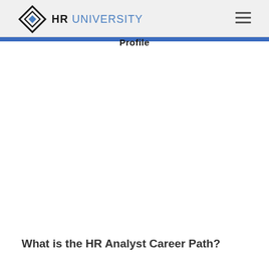HR UNIVERSITY
Profile
What is the HR Analyst Career Path?